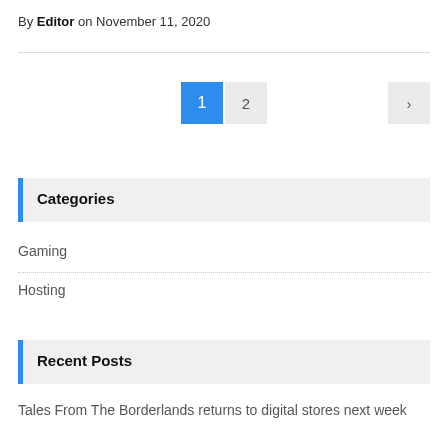By Editor on November 11, 2020
[Figure (other): Pagination controls showing page 1 (active, blue), page 2, and a next arrow button]
Categories
Gaming
Hosting
Recent Posts
Tales From The Borderlands returns to digital stores next week